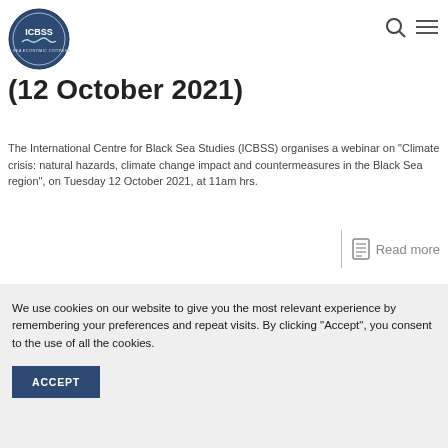[Figure (logo): ICBSS circular logo with Blue Sea Studies text]
(12 October 2021)
The International Centre for Black Sea Studies (ICBSS) organises a webinar on "Climate crisis: natural hazards, climate change impact and countermeasures in the Black Sea region", on Tuesday 12 October 2021, at 11am hrs.
Read more
We use cookies on our website to give you the most relevant experience by remembering your preferences and repeat visits. By clicking "Accept", you consent to the use of all the cookies.
ACCEPT